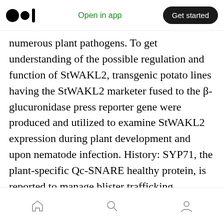Open in app | Get started
numerous plant pathogens. To get understanding of the possible regulation and function of StWAKL2, transgenic potato lines having the StWAKL2 marketer fused to the β-glucuronidase press reporter gene were produced and utilized to examine StWAKL2 expression during plant development and upon nematode infection. History: SYP71, the plant-specific Qc-SNARE healthy protein, is reported to manage blister trafficking. Possibly manages plant growth, metabolism and ecological adaptation by affecting cell wall homeostasis
Home Search Profile